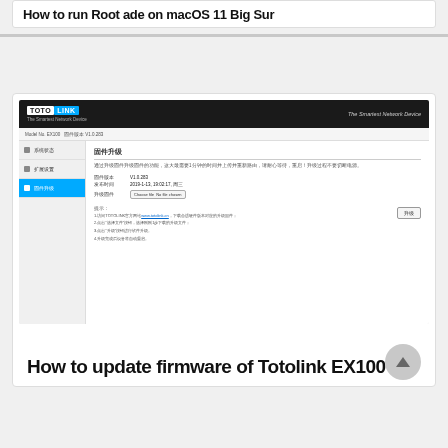How to run Root ade on macOS 11 Big Sur
[Figure (screenshot): TOTOLINK router admin panel showing firmware upgrade page with Chinese text. Model No. EX100. Sidebar has 系统状态, 扩展设置, 固件升级 (active, highlighted in blue). Main content shows 固件升级 section with fields: 固件版本 V1.0.283, 发布时间 2019-1-13 19:02:27 周三, 升级固件 with Choose File button. Tips section listed below.]
How to update firmware of Totolink EX100